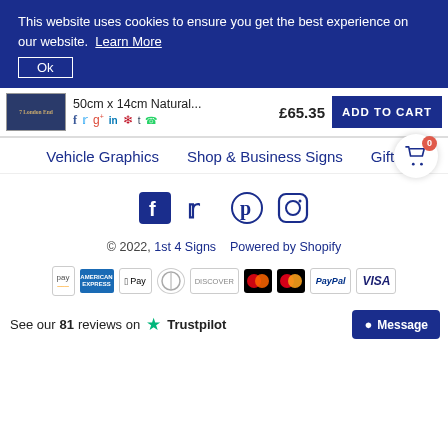This website uses cookies to ensure you get the best experience on our website. Learn More
Ok
[Figure (screenshot): Product thumbnail - wooden sign on dark blue background]
50cm x 14cm Natural... £65.35
ADD TO CART
Vehicle Graphics | Shop & Business Signs | Gifts
[Figure (infographic): Social media icons: Facebook, Twitter, Pinterest, Instagram]
© 2022, 1st 4 Signs   Powered by Shopify
[Figure (infographic): Payment method icons: Amazon Pay, American Express, Apple Pay, Diners, Discover, Maestro, Mastercard, PayPal, VISA]
See our 81 reviews on Trustpilot
Message